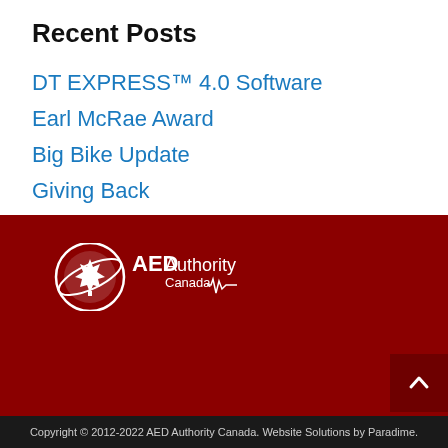Recent Posts
DT EXPRESS™ 4.0 Software
Earl McRae Award
Big Bike Update
Giving Back
[Figure (logo): AED Authority Canada logo — white maple leaf with orbital ring and ECG line, white text reading AED Authority Canada]
Copyright © 2012-2022 AED Authority Canada. Website Solutions by Paradime.